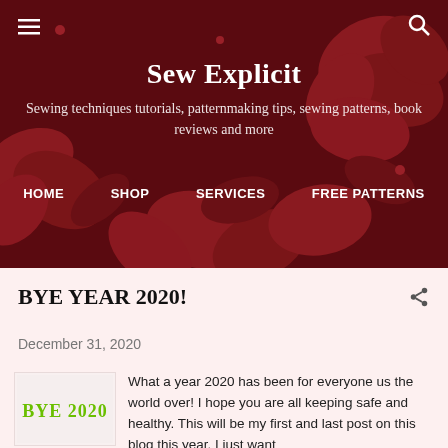[Figure (illustration): Dark crimson floral background with red flower and leaf pattern overlay for website header]
Sew Explicit
Sewing techniques tutorials, patternmaking tips, sewing patterns, book reviews and more
HOME    SHOP    SERVICES    FREE PATTERNS
BYE YEAR 2020!
December 31, 2020
[Figure (illustration): Green graffiti-style text reading BYE 2020 on light background]
What a year 2020 has been for everyone us the world over! I hope you are all keeping safe and healthy.  This will be my first and last post on this blog this year. I just want